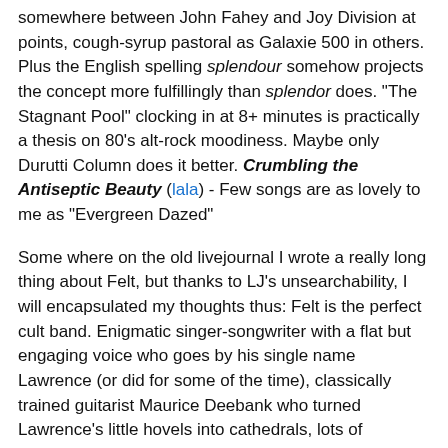somewhere between John Fahey and Joy Division at points, cough-syrup pastoral as Galaxie 500 in others. Plus the English spelling splendour somehow projects the concept more fulfillingly than splendor does. "The Stagnant Pool" clocking in at 8+ minutes is practically a thesis on 80's alt-rock moodiness. Maybe only Durutti Column does it better. Crumbling the Antiseptic Beauty (lala) - Few songs are as lovely to me as "Evergreen Dazed"
Some where on the old livejournal I wrote a really long thing about Felt, but thanks to LJ's unsearchability, I will encapsulated my thoughts thus: Felt is the perfect cult band. Enigmatic singer-songwriter with a flat but engaging voice who goes by his single name Lawrence (or did for some of the time), classically trained guitarist Maurice Deebank who turned Lawrence's little hovels into cathedrals, lots of infighting - one album Train Above the City did not include the singer/founder, presence of heavyweights like Martin Duffy and Liz Frasier and so on. Lawrence sang like Lou Reed but proclaimed a Morrissey-esque "New Puritanism" that mirrored the no drink/drugs/sex policies of straight-edge but with a more flowery air about it. The first single "Index"